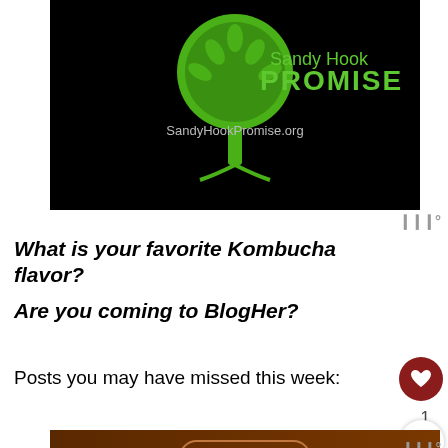[Figure (logo): Sandy Hook Promise logo on black background with tree/hands graphic and text 'Sandy Hook PROMISE' and URL 'SandyHookPromise.org']
What is your favorite Kombucha flavor?
Are you coming to BlogHer?
Posts you may have missed this week:
[Figure (photo): Image with 'Vegan' label badge on brown background and a pink heart on a purple/magenta gradient bar below]